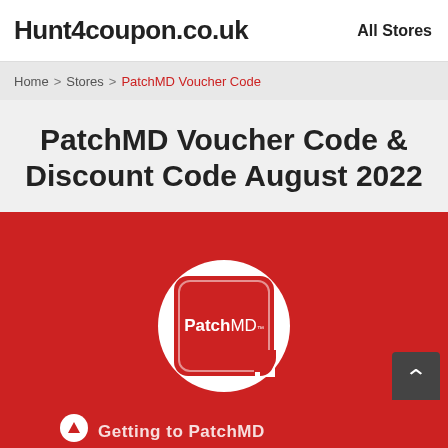Hunt4coupon.co.uk | All Stores
Home > Stores > PatchMD Voucher Code
PatchMD Voucher Code & Discount Code August 2022
[Figure (logo): PatchMD logo inside a white circle on a red background banner. The PatchMD branded icon shows a red rounded square with white border containing the text PatchMD with a peel corner. A back-to-top button (dark grey with white chevron) is visible at the right. Partial text at the bottom reads 'Getting to PatchMD']